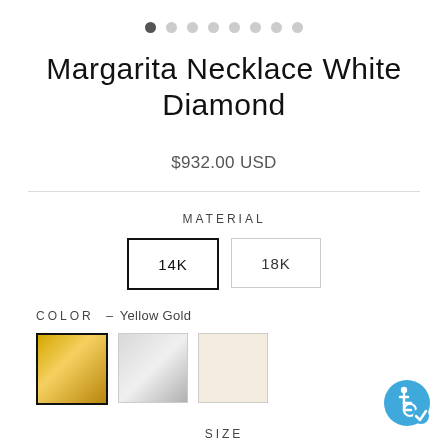[Figure (other): Carousel dot indicators: 8 dots, first one filled/active dark, rest light gray]
Margarita Necklace White Diamond
$932.00 USD
MATERIAL
14K (selected), 18K
COLOR – Yellow Gold
[Figure (other): Three color swatches: Yellow Gold (selected, gold gradient), White Gold (silver/grey), Rose Gold (pale rose/cream)]
SIZE
[Figure (other): Accessibility icon: blue circle with wheelchair symbol and checkmark]